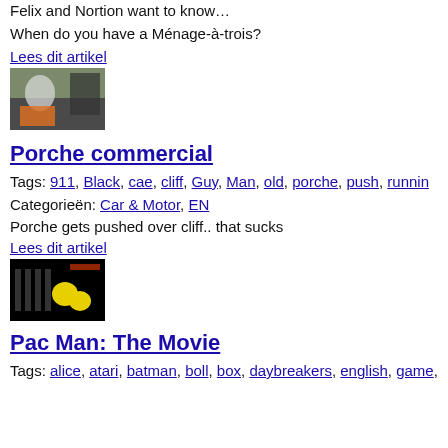Felix and Nortion want to know…
When do you have a Ménage-à-trois?
Lees dit artikel
[Figure (photo): Thumbnail image showing a person near a car on a cliff]
Porche commercial
Tags: 911, Black, cae, cliff, Guy, Man, old, porche, push, runnin
Categorieën: Car & Motor, EN
Porche gets pushed over cliff.. that sucks
Lees dit artikel
[Figure (photo): Thumbnail image showing yellow pac-man characters in a dark scene]
Pac Man: The Movie
Tags: alice, atari, batman, boll, box, daybreakers, english, game,